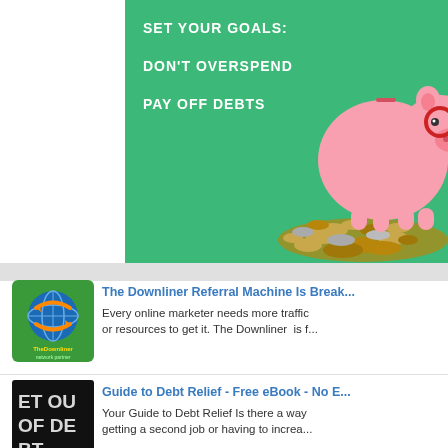[Figure (illustration): Green background financial tips banner with white bold text listing 'SET YOUR GOALS:', 'DON'T OVERSPEND', 'PAY OFF DEBTS' on left side and a pink piggy bank on a pile of coins on the right side.]
[Figure (logo): The Downliner network partner logo - globe with orange arrows, green and yellow text.]
The Downliner Referral Machine Is Break...
Every online marketer needs more traffic or resources to get it. The Downliner  is f...
[Figure (photo): Dark chalkboard image with white chalk text reading 'GET OUT OF DEBT' partially visible.]
Guide to Debt Relief - Free eBook - No E...
Your Guide to Debt Relief Is there a way getting a second job or having to increa...